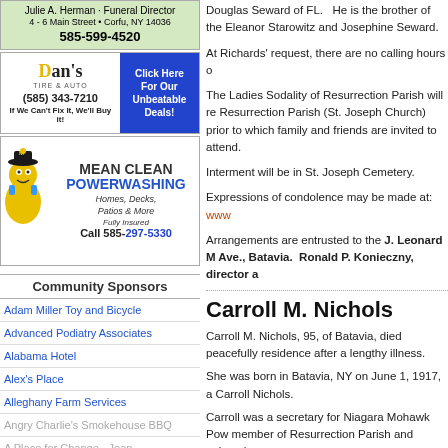[Figure (infographic): Julie A. Herman Funeral Director ad with green background, 4-6 Main Street, Corfu NY 14036, phone 585-599-4520]
[Figure (infographic): Dan's Tire & Auto advertisement with yellow logo on left and blue Click Here For Our Unbeatable Deals panel on right, phone (585) 343-7210, slogan If We Can't Fix It, We'll Buy it!]
[Figure (infographic): Mean Clean Powerwashing advertisement with cartoon mascot, Homes, Decks, Patios & More, Fully Insured, Call 585-297-5330]
Community Sponsors
Adam Miller Toy and Bicycle
Advanced Podiatry Associates
Alabama Hotel
Alex's Place
Alleghany Farm Services
Angry Charlie's Smokehouse BBQ
A Place for Change - Joan
Douglas Seward of FL.   He is the brother of the Eleanor Starowitz and Josephine Seward.
At Richards' request, there are no calling hours o
The Ladies Sodality of Resurrection Parish will re Resurrection Parish (St. Joseph Church) prior to which family and friends are invited to attend.
Interment will be in St. Joseph Cemetery.
Expressions of condolence may be made at: www
Arrangements are entrusted to the J. Leonard M Ave., Batavia.  Ronald P. Konieczny, director a
Carroll M. Nichols
Carroll M. Nichols, 95, of Batavia, died peacefully residence after a lengthy illness.
She was born in Batavia, NY on June 1, 1917, a Carroll Nichols.
Carroll was a secretary for Niagara Mohawk Pow member of Resurrection Parish and enjoyed spe
Survivors include two sisters, Jean Weiss of Bata Nieces, nephews and many dear friends also su